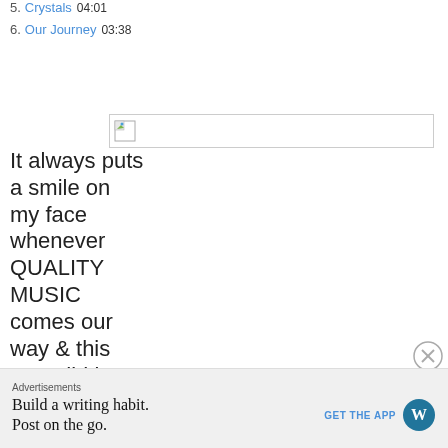5.  Crystals  04:01
6.  Our Journey  03:38
[Figure (illustration): Broken/placeholder image icon inside a rectangular bordered box]
It always puts a smile on my face whenever QUALITY MUSIC comes our way & this one, did just this one,
Advertisements
Build a writing habit.
Post on the go.
GET THE APP